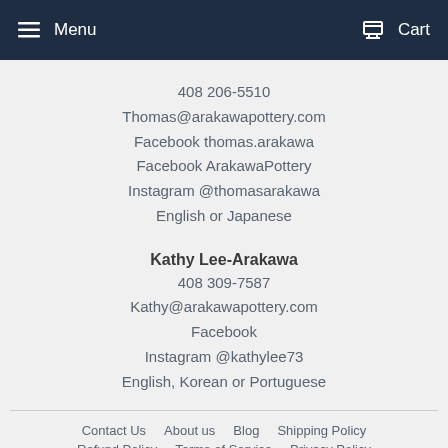Menu   Cart
408 206-5510
Thomas@arakawapottery.com
Facebook thomas.arakawa
Facebook ArakawaPottery
Instagram @thomasarakawa
English or Japanese
Kathy Lee-Arakawa
408 309-7587
Kathy@arakawapottery.com
Facebook
Instagram @kathylee73
English, Korean or Portuguese
Contact Us   About us   Blog   Shipping Policy   Refund Policy   Terms of Service   Privacy Policy